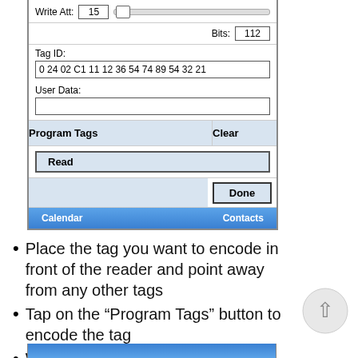[Figure (screenshot): Mobile device UI showing an RFID tag programming interface with Write Att slider set to 15, Bits field showing 112, Tag ID field showing '0 24 02 C1 11 12 36 54 74 89 54 32 21', User Data field, Program Tags button, Clear button, Read button, Done button, and Calendar/Contacts taskbar at the bottom.]
Place the tag you want to encode in front of the reader and point away from any other tags
Tap on the “Program Tags” button to encode the tag
When successful, the screen will show the following message:
[Figure (screenshot): Bottom strip of a device screen showing the start of a success message screen]